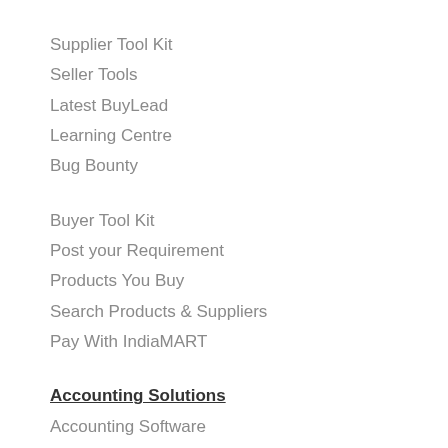Supplier Tool Kit
Seller Tools
Latest BuyLead
Learning Centre
Bug Bounty
Buyer Tool Kit
Post your Requirement
Products You Buy
Search Products & Suppliers
Pay With IndiaMART
Accounting Solutions
Accounting Software
Tally on Mobile
GST e-Invoice
[Figure (other): Chat with us button with three dots]